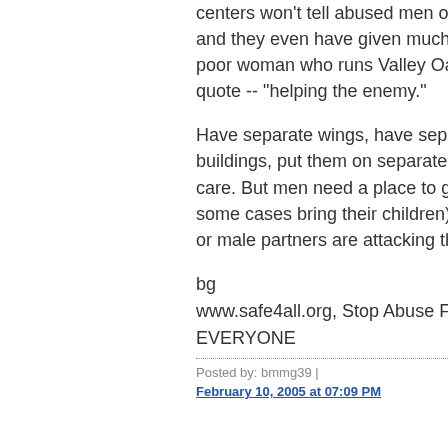centers won't tell abused men of its existence, and they even have given much grief to the poor woman who runs Valley Oasis for -- and I quote -- "helping the enemy."
Have separate wings, have separate buildings, put them on separate streets, I don't care. But men need a place to go (and in some cases bring their children) if their female or male partners are attacking them.
bg
www.safe4all.org, Stop Abuse For EVERYONE
Posted by: bmmg39 | February 10, 2005 at 07:09 PM